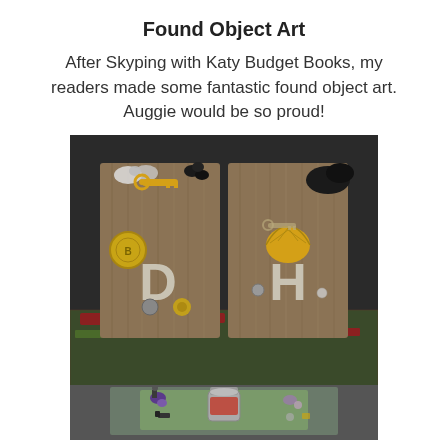Found Object Art
After Skyping with Katy Budget Books, my readers made some fantastic found object art. Auggie would be so proud!
[Figure (photo): Two photographs of found object art projects. The top photo shows two wooden boards side by side decorated with found objects including a gold key, a seashell, coins, a bow, flowers, and wooden letters 'D' and 'H'. The boards are photographed on a patterned rug. The bottom photo shows another found object art piece on a green background with small decorative items.]